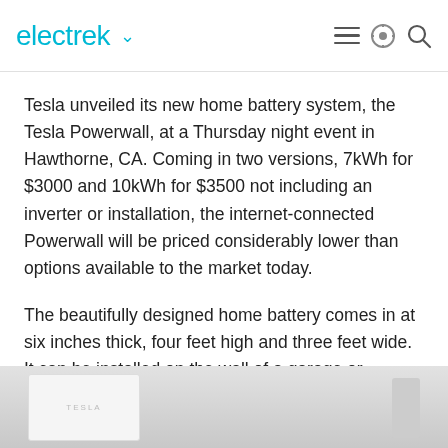electrek
Tesla unveiled its new home battery system, the Tesla Powerwall, at a Thursday night event in Hawthorne, CA. Coming in two versions, 7kWh for $3000 and 10kWh for $3500 not including an inverter or installation, the internet-connected Powerwall will be priced considerably lower than options available to the market today.
The beautifully designed home battery comes in at six inches thick, four feet high and three feet wide. It can be installed on the wall of a garage or basement by two people in less than 90 minutes. Each Tesla Powerwall will come with a 10 year guarantee.
[Figure (photo): Partial view of Tesla Powerwall product photo, showing a white rectangular battery unit mounted in a light-colored setting]